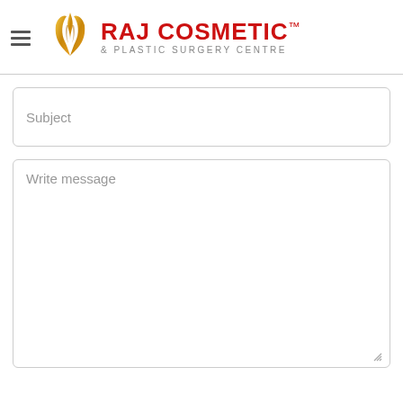[Figure (logo): Raj Cosmetic & Plastic Surgery Centre logo with golden wing/flame icon and red text]
Subject
Write message